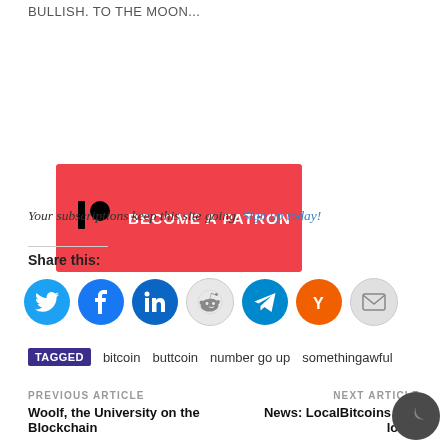BULLISH. TO THE MOON...
[Figure (other): Patreon BECOME A PATRON banner button in red]
Your subscriptions keep this site going. Sign up today!
Share this:
[Figure (other): Social sharing icons: Twitter, Facebook, LinkedIn, Reddit, Telegram, Hacker News (Y Combinator), Email]
TAGGED bitcoin  buttcoin  number go up  somethingawful
PREVIOUS ARTICLE
Woolf, the University on the Blockchain
NEXT ARTICLE
News: LocalBitcoins less local,